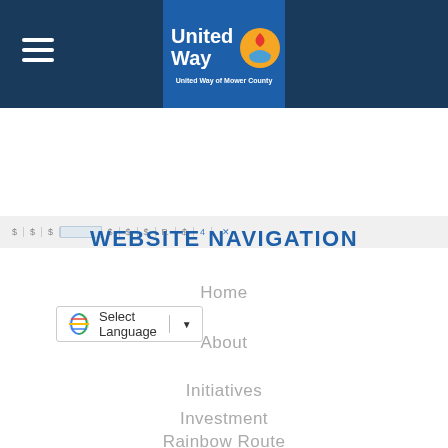[Figure (logo): United Way of Mower County logo with hamburger menu icon on dark navy blue header bar]
[Figure (screenshot): Navigation strip with abbreviated page breadcrumbs/links in gray]
[Figure (other): Google Translate Select Language dropdown button]
WEBSITE NAVIGATION
Home
About
Initiatives
Investment
Rainbow Route